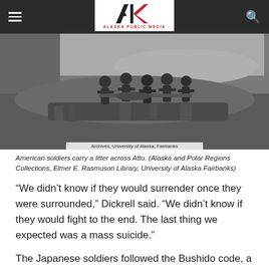Alaska Public Media
[Figure (photo): Black and white photograph of American soldiers carrying a litter (stretcher) across Attu. Several soldiers in military gear visible with a body of water in the background.]
American soldiers carry a litter across Attu. (Alaska and Polar Regions Collections, Elmer E. Rasmuson Library, University of Alaska Fairbanks)
“We didn’t know if they would surrender once they were surrounded,” Dickrell said. “We didn’t know if they would fight to the end. The last thing we expected was a mass suicide.”
The Japanese soldiers followed the Bushido code, a samurai warrior ethic in which surrender was dishonorable. So every